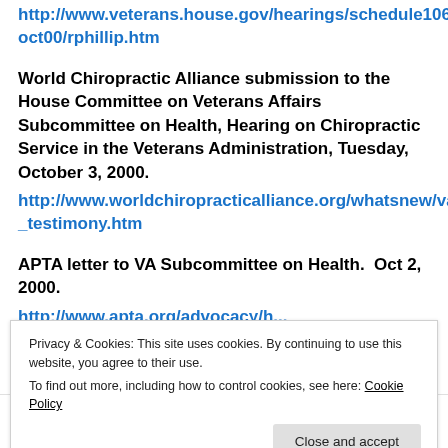http://www.veterans.house.gov/hearings/schedule106/oct00/rphillip.htm
World Chiropractic Alliance submission to the House Committee on Veterans Affairs Subcommittee on Health, Hearing on Chiropractic Service in the Veterans Administration, Tuesday, October 3, 2000.
http://www.worldchiropracticalliance.org/whatsnew/va_testimony.htm
APTA letter to VA Subcommittee on Health.  Oct 2, 2000.
Privacy & Cookies: This site uses cookies. By continuing to use this website, you agree to their use.
To find out more, including how to control cookies, see here: Cookie Policy
American Osteopathic Association.  October 2, 2000.